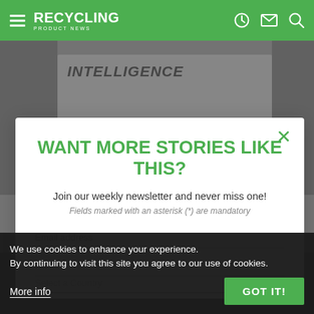RECYCLING PRODUCT NEWS
[Figure (screenshot): Background page of Recycling Product News website showing article about intelligence with circuit board image, partially obscured by modal overlay]
WANT MORE STORIES LIKE THIS?
Join our weekly newsletter and never miss one!
Fields marked with an asterisk (*) are mandatory
Email address
Name
Select a Country
We use cookies to enhance your experience. By continuing to visit this site you agree to our use of cookies.
More info
GOT IT!